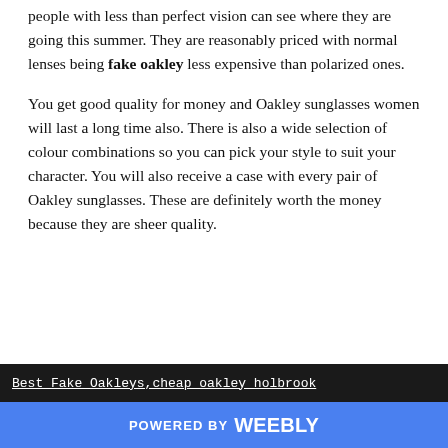people with less than perfect vision can see where they are going this summer. They are reasonably priced with normal lenses being fake oakley less expensive than polarized ones.
You get good quality for money and Oakley sunglasses women will last a long time also. There is also a wide selection of colour combinations so you can pick your style to suit your character. You will also receive a case with every pair of Oakley sunglasses. These are definitely worth the money because they are sheer quality.
Best Fake Oakleys,cheap oakley holbrook
POWERED BY weebly